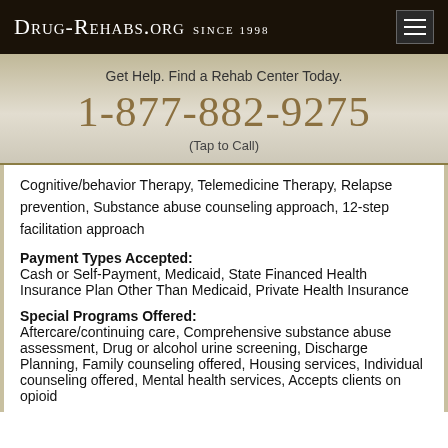Drug-Rehabs.org Since 1998
Get Help. Find a Rehab Center Today.
1-877-882-9275
(Tap to Call)
Cognitive/behavior Therapy, Telemedicine Therapy, Relapse prevention, Substance abuse counseling approach, 12-step facilitation approach
Payment Types Accepted: Cash or Self-Payment, Medicaid, State Financed Health Insurance Plan Other Than Medicaid, Private Health Insurance
Special Programs Offered: Aftercare/continuing care, Comprehensive substance abuse assessment, Drug or alcohol urine screening, Discharge Planning, Family counseling offered, Housing services, Individual counseling offered, Mental health services, Accepts clients on opioid